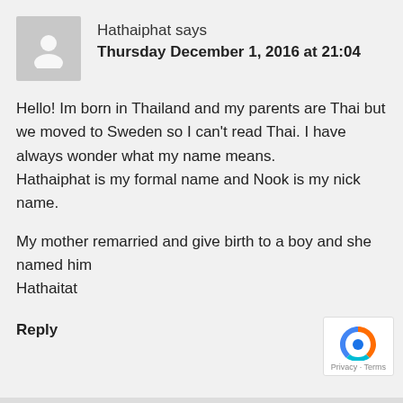Hathaiphat says
Thursday December 1, 2016 at 21:04
Hello! Im born in Thailand and my parents are Thai but we moved to Sweden so I can't read Thai. I have always wonder what my name means.
Hathaiphat is my formal name and Nook is my nick name.

My mother remarried and give birth to a boy and she named him
Hathaitat
Reply